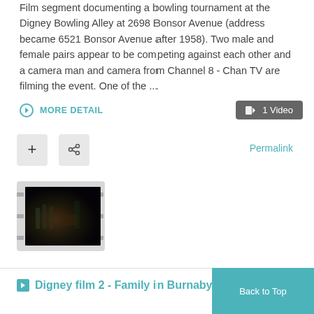Film segment documenting a bowling tournament at the Digney Bowling Alley at 2698 Bonsor Avenue (address became 6521 Bonsor Avenue after 1958). Two male and female pairs appear to be competing against each other and a camera man and camera from Channel 8 - Chan TV are filming the event. One of the ...
MORE DETAIL
1 Video
Permalink
[Figure (photo): Dark thumbnail image showing interior of bowling alley with figures visible]
Digney film 2 - Family in Burnaby,
Back to Top